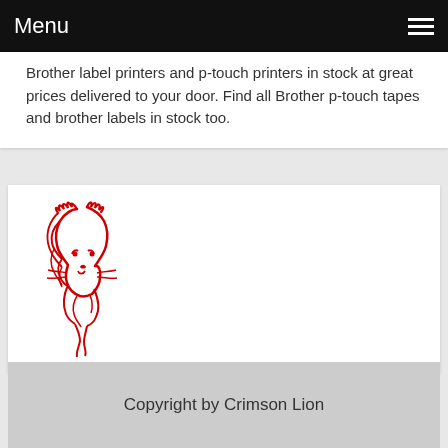Menu
Brother label printers and p-touch printers in stock at great prices delivered to your door. Find all Brother p-touch tapes and brother labels in stock too.
[Figure (illustration): Red tribal lion head illustration on white background]
Copyright by Crimson Lion